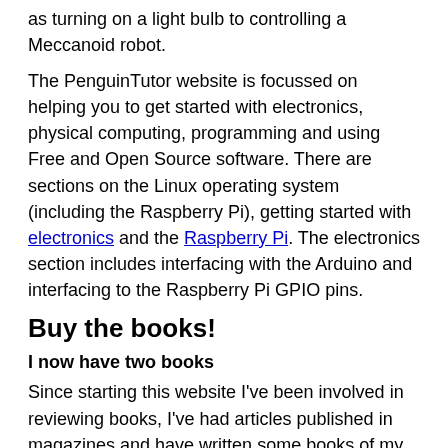as turning on a light bulb to controlling a Meccanoid robot.
The PenguinTutor website is focussed on helping you to get started with electronics, physical computing, programming and using Free and Open Source software. There are sections on the Linux operating system (including the Raspberry Pi), getting started with electronics and the Raspberry Pi. The electronics section includes interfacing with the Arduino and interfacing to the Raspberry Pi GPIO pins.
Buy the books!
I now have two books
Since starting this website I've been involved in reviewing books, I've had articles published in magazines and have written some books of my own.
Learn Electronics with Raspberry Pi